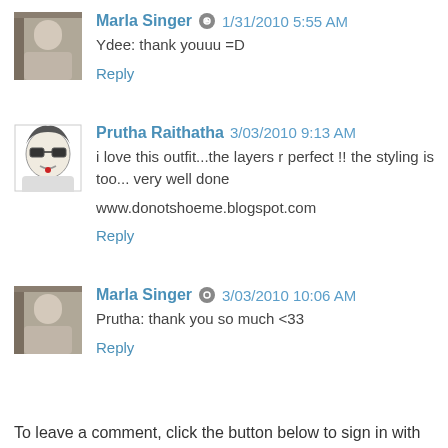Marla Singer 1/31/2010 5:55 AM
Ydee: thank youuu =D
Reply
Prutha Raithatha 3/03/2010 9:13 AM
i love this outfit...the layers r perfect !! the styling is too... very well done
www.donotshoeme.blogspot.com
Reply
Marla Singer 3/03/2010 10:06 AM
Prutha: thank you so much <33
Reply
To leave a comment, click the button below to sign in with